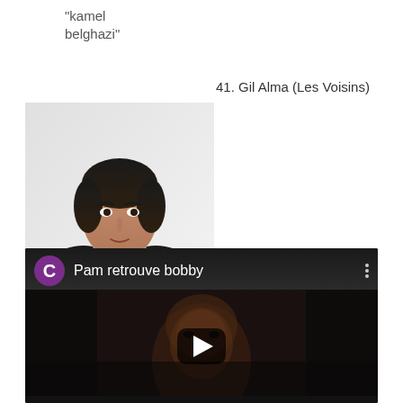"kamel belghazi"
41. Gil Alma (Les Voisins)
[Figure (photo): Photo of a man (Gil Alma) in a dark jacket over a light blue shirt, with dark hair, against a white background]
40. Victoria Principal (Dallas)
Résultat de recherche d'images pour "victoria principal"
[Figure (screenshot): YouTube video embed showing 'Pam retrouve bobby' with a channel icon C in purple circle, menu dots, and a play button over a dark thumbnail of a person's face]